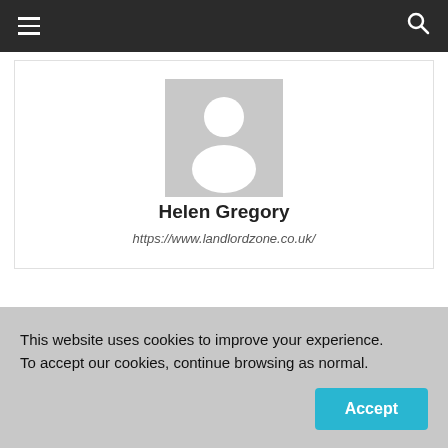Navigation bar with hamburger menu and search icon
[Figure (photo): Default avatar placeholder image — grey square with white silhouette of a person (head and shoulders)]
Helen Gregory
https://www.landlordzone.co.uk/
14 COMMENTS
This website uses cookies to improve your experience. To accept our cookies, continue browsing as normal.